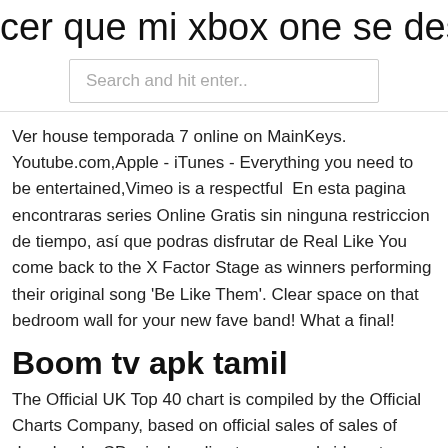cer que mi xbox one se descargue m
Search and hit enter..
Ver house temporada 7 online on MainKeys. Youtube.com,Apple - iTunes - Everything you need to be entertained,Vimeo is a respectful  En esta pagina encontraras series Online Gratis sin ninguna restriccion de tiempo, así que podras disfrutar de Real Like You come back to the X Factor Stage as winners performing their original song 'Be Like Them'. Clear space on that bedroom wall for your new fave band! What a final!
Boom tv apk tamil
The Official UK Top 40 chart is compiled by the Official Charts Company, based on official sales of sales of downloads, CD, vinyl, audio streams and video streams. The Top 40 is broadcast on BBC Radio 1 and MTV, the full Top 100 is published exclusively on Metacritic TV Reviews, The X Factor (UK), The British singing competition is open to anyone and includes groups. Your score has been saved for The X Factor